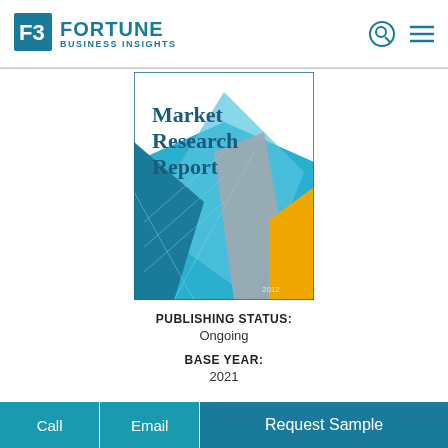FORTUNE BUSINESS INSIGHTS
[Figure (illustration): Fortune Business Insights Market Research Report book cover with geometric blue, gray, and gold diamond shapes]
PUBLISHING STATUS: Ongoing
BASE YEAR: 2021
Call | Email | Request Sample